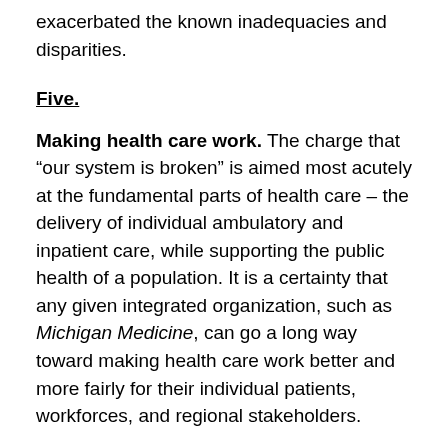exacerbated the known inadequacies and disparities.
Five.
Making health care work. The charge that “our system is broken” is aimed most acutely at the fundamental parts of health care – the delivery of individual ambulatory and inpatient care, while supporting the public health of a population. It is a certainty that any given integrated organization, such as Michigan Medicine, can go a long way toward making health care work better and more fairly for their individual patients, workforces, and regional stakeholders.
The operation of a large regional health care system such as Michigan Medicine is not amenable to any algorithms